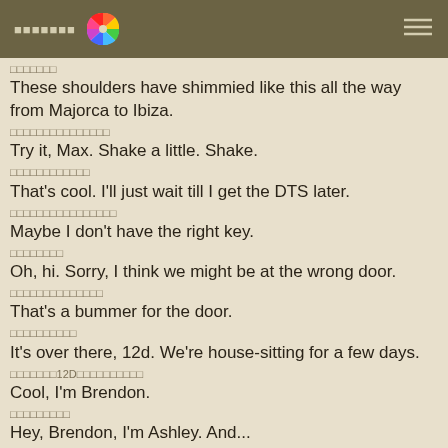▪▪▪▪▪▪▪ [spinner icon] ☰
▪▪▪▪▪▪▪
These shoulders have shimmied like this all the way from Majorca to Ibiza.
▪▪▪▪▪▪▪▪▪▪▪▪▪▪▪
Try it, Max. Shake a little. Shake.
▪▪▪▪▪▪▪▪▪▪▪▪
That's cool. I'll just wait till I get the DTS later.
▪▪▪▪▪▪▪▪▪▪▪▪▪▪▪▪
Maybe I don't have the right key.
▪▪▪▪▪▪▪▪
Oh, hi. Sorry, I think we might be at the wrong door.
▪▪▪▪▪▪▪▪▪▪▪▪▪▪
That's a bummer for the door.
▪▪▪▪▪▪▪▪▪▪
It's over there, 12d. We're house-sitting for a few days.
▪▪▪▪▪▪▪12D▪▪▪▪▪▪▪▪▪▪
Cool, I'm Brendon.
▪▪▪▪▪▪▪▪▪
Hey, Brendon, I'm Ashley. And...